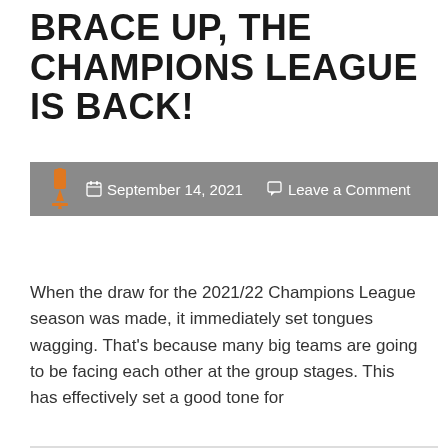BRACE UP, THE CHAMPIONS LEAGUE IS BACK!
September 14, 2021   Leave a Comment
When the draw for the 2021/22 Champions League season was made, it immediately set tongues wagging. That's because many big teams are going to be facing each other at the group stages. This has effectively set a good tone for